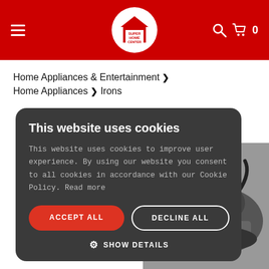Super Home Center — navigation header with hamburger menu, logo, search icon, cart icon with 0 items
Home Appliances & Entertainment > Home Appliances > Irons
This website uses cookies
This website uses cookies to improve user experience. By using our website you consent to all cookies in accordance with our Cookie Policy. Read more
ACCEPT ALL
DECLINE ALL
SHOW DETAILS
[Figure (photo): Iron appliance product photo in dark color, partially visible behind cookie consent modal]